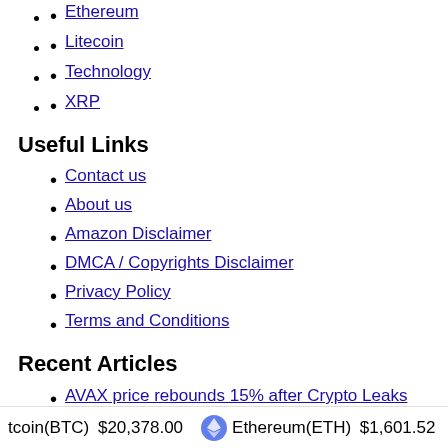Ethereum
Litecoin
Technology
XRP
Useful Links
Contact us
About us
Amazon Disclaimer
DMCA / Copyrights Disclaimer
Privacy Policy
Terms and Conditions
Recent Articles
AVAX price rebounds 15% after Crypto Leaks sell-off but Avalanche could still bury bulls
Bitcoin mining has never been more competitive even as BTC loses 13% in August
ETH products grow in August as BTC products dip: CryptoCompare report
tcoin(BTC) $20,378.00   Ethereum(ETH) $1,601.52   XRP(XRP)